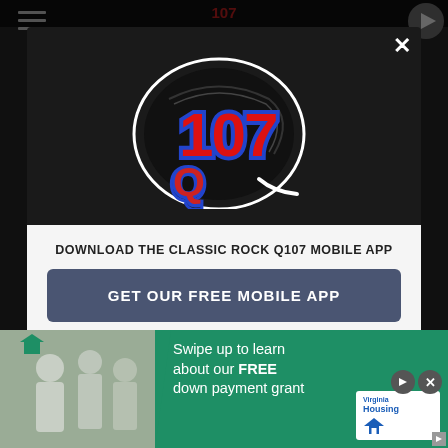[Figure (screenshot): Q107 Classic Rock radio station app download modal popup dialog over a dark website background. Shows Q107 logo at top on dark background, white section below with text and button, and a Virginia Housing advertisement banner at the bottom.]
DOWNLOAD THE CLASSIC ROCK Q107 MOBILE APP
GET OUR FREE MOBILE APP
Also listen on: amazon alexa
Swipe up to learn about our FREE down payment grant
[Figure (logo): Virginia Housing logo]